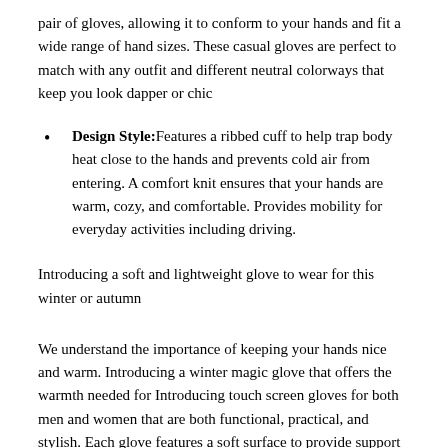pair of gloves, allowing it to conform to your hands and fit a wide range of hand sizes. These casual gloves are perfect to match with any outfit and different neutral colorways that keep you look dapper or chic
Design Style:Features a ribbed cuff to help trap body heat close to the hands and prevents cold air from entering. A comfort knit ensures that your hands are warm, cozy, and comfortable. Provides mobility for everyday activities including driving.
Introducing a soft and lightweight glove to wear for this winter or autumn
We understand the importance of keeping your hands nice and warm. Introducing a winter magic glove that offers the warmth needed for Introducing touch screen gloves for both men and women that are both functional, practical, and stylish. Each glove features a soft surface to provide support and comfort for the hands and fingers. The wrist cuff provides additional warmth by retaining body heat close to the hands while keeping cold air and wind out.